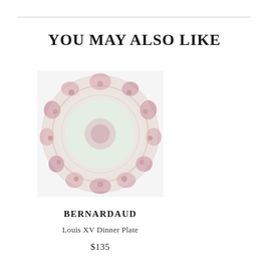YOU MAY ALSO LIKE
[Figure (photo): A decorative dinner plate with floral pink and mauve pattern on rim, light green/white center, viewed from above, blurred/soft focus image.]
BERNARDAUD
Louis XV Dinner Plate
$135